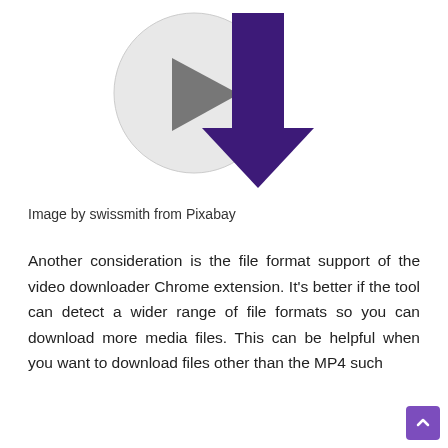[Figure (illustration): A composite icon showing a circular video play button (gray circle with dark gray play triangle) overlapping with a large dark purple downward-pointing arrow, representing a video downloader.]
Image by swissmith from Pixabay
Another consideration is the file format support of the video downloader Chrome extension. It's better if the tool can detect a wider range of file formats so you can download more media files. This can be helpful when you want to download files other than the MP4 such